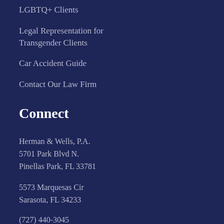LGBTQ+ Clients
Legal Representation for Transgender Clients
Car Accident Guide
Contact Our Law Firm
Connect
Herman & Wells, P.A.
5701 Park Blvd N.
Pinellas Park, FL 33781
5573 Marquesas Cir
Sarasota, FL 34233
(727) 440-3045